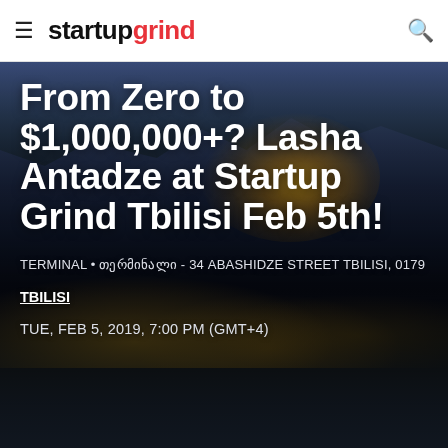startup grind
[Figure (photo): Night cityscape of Tbilisi, Georgia, showing illuminated fortress/castle on a hill with city lights below, used as hero background image for a Startup Grind event page]
From Zero to $1,000,000+? Lasha Antadze at Startup Grind Tbilisi Feb 5th!
TERMINAL • თერმინალი - 34 ABASHIDZE STREET TBILISI, 0179
TBILISI
TUE, FEB 5, 2019, 7:00 PM (GMT+4)